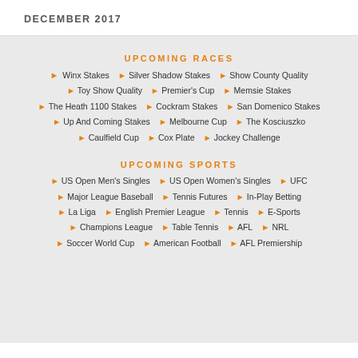DECEMBER 2017
UPCOMING RACES
Winx Stakes
Silver Shadow Stakes
Show County Quality
Toy Show Quality
Premier's Cup
Memsie Stakes
The Heath 1100 Stakes
Cockram Stakes
San Domenico Stakes
Up And Coming Stakes
Melbourne Cup
The Kosciuszko
Caulfield Cup
Cox Plate
Jockey Challenge
UPCOMING SPORTS
US Open Men's Singles
US Open Women's Singles
UFC
Major League Baseball
Tennis Futures
In-Play Betting
La Liga
English Premier League
Tennis
E-Sports
Champions League
Table Tennis
AFL
NRL
Soccer World Cup
American Football
AFL Premiership